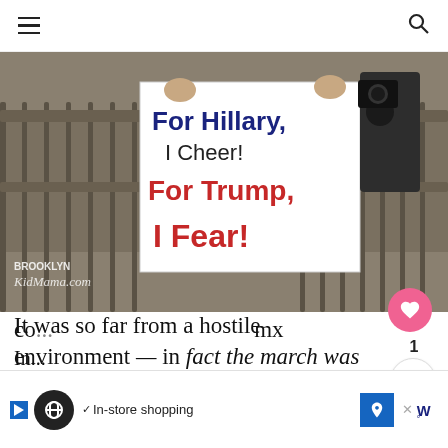Navigation header with hamburger menu and search icon
[Figure (photo): Protest photo showing people holding a sign reading 'For Hillary, I Cheer! For Trump, I Fear!' in front of an ornate wrought-iron gate. Watermark reads 'Brooklyn KidMama.com']
It was so far from a hostile environment — in fact the march was everything opposite of the current administration. It was love,
[Figure (other): WHAT'S NEXT widget showing thumbnail and text: Pregnancy & Parenthood ...]
co... mx... In...
[Figure (other): Advertisement banner: In-store shopping with Google Maps style navigation icon]